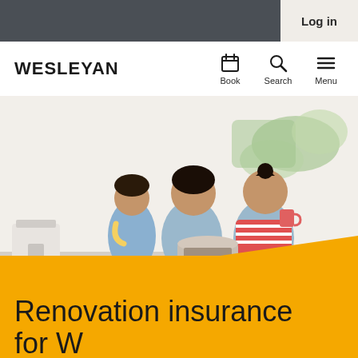Log in
[Figure (logo): WESLEYAN logo with Book, Search, Menu navigation icons]
[Figure (photo): A family of three (man, woman, and child) sitting together during a home renovation, with paint on the wall behind them. The child holds a banana, the woman holds a cup, and paint supplies are around them.]
Renovation insurance for Wesleyan members